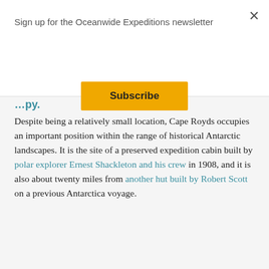Sign up for the Oceanwide Expeditions newsletter
Subscribe
Despite being a relatively small location, Cape Royds occupies an important position within the range of historical Antarctic landscapes. It is the site of a preserved expedition cabin built by polar explorer Ernest Shackleton and his crew in 1908, and it is also about twenty miles from another hut built by Robert Scott on a previous Antarctica voyage.
The terrain of Cape Royds, meanwhile, includes two other noteworthy locations: Flagstaff Point, a spot near Shackleton's cabin where he erected a